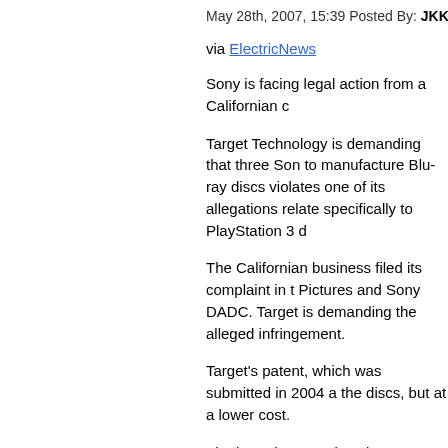May 28th, 2007, 15:39 Posted By: JKKDARK
via ElectricNews
Sony is facing legal action from a Californian c
Target Technology is demanding that three Son to manufacture Blu-ray discs violates one of its allegations relate specifically to PlayStation 3 d
The Californian business filed its complaint in t Pictures and Sony DADC. Target is demanding the alleged infringement.
Target's patent, which was submitted in 2004 a the discs, but at a lower cost.
The lawsuit comes just three months after Son earlier games consoles but not the PlayStation digital camera patents.
While this new lawsuit may deal a hard blow to of Blu-ray discs appears to be opening.
The Advanced Access Content System (AACS Blu-ray and HD DVD discs. Production studios
If the agreement goes through consumers will